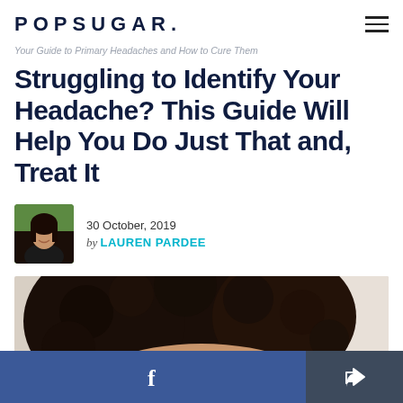POPSUGAR.
Your Guide to Primary Headaches and How to Cure Them
Struggling to Identify Your Headache? This Guide Will Help You Do Just That and, Treat It
30 October, 2019 by LAUREN PARDEE
[Figure (photo): Author avatar photo of Lauren Pardee, a woman with dark hair wearing a black jacket]
[Figure (photo): Hero image showing close-up of a person with curly dark hair, top of head and forehead visible, blurred background]
f (Facebook share button) and share icon button